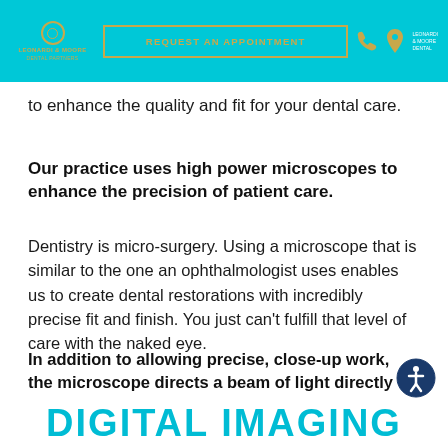REQUEST AN APPOINTMENT
to enhance the quality and fit for your dental care.
Our practice uses high power microscopes to enhance the precision of patient care.
Dentistry is micro-surgery. Using a microscope that is similar to the one an ophthalmologist uses enables us to create dental restorations with incredibly precise fit and finish. You just can't fulfill that level of care with the naked eye.
In addition to allowing precise, close-up work, the microscope directs a beam of light directly on the teeth, minimizing glare for you.
DIGITAL IMAGING